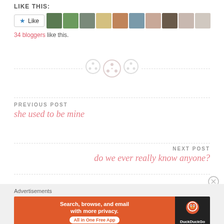LIKE THIS:
[Figure (screenshot): Like button with star icon and row of blogger avatar thumbnails]
34 bloggers like this.
[Figure (illustration): Three decorative button icons on a dashed horizontal divider line]
PREVIOUS POST
she used to be mine
NEXT POST
do we ever really know anyone?
Advertisements
[Figure (screenshot): DuckDuckGo advertisement banner: Search, browse, and email with more privacy. All in One Free App.]